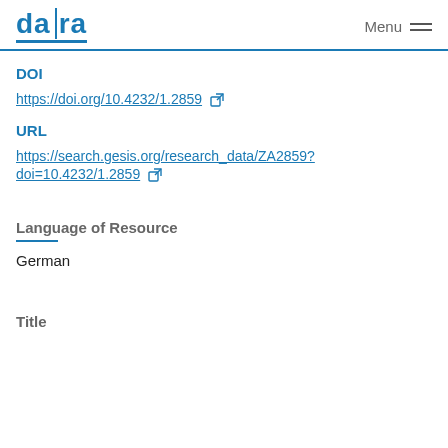da|ra  Menu
DOI
https://doi.org/10.4232/1.2859
URL
https://search.gesis.org/research_data/ZA2859?doi=10.4232/1.2859
Language of Resource
German
Title